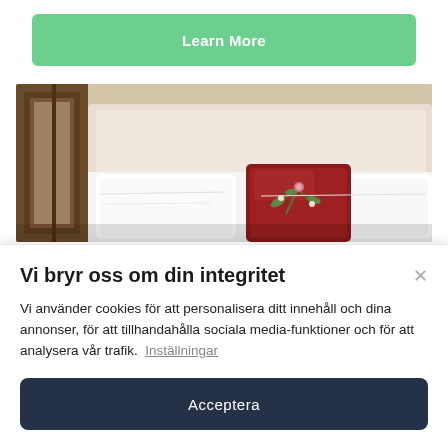Learn More
[Figure (photo): Hotel bedroom with white bedding and a red decorative pillow with floral embroidery, a wooden mirror frame visible on the left]
Vi bryr oss om din integritet
Vi använder cookies för att personalisera ditt innehåll och dina annonser, för att tillhandahålla sociala media-funktioner och för att analysera vår trafik. Inställningar
Acceptera